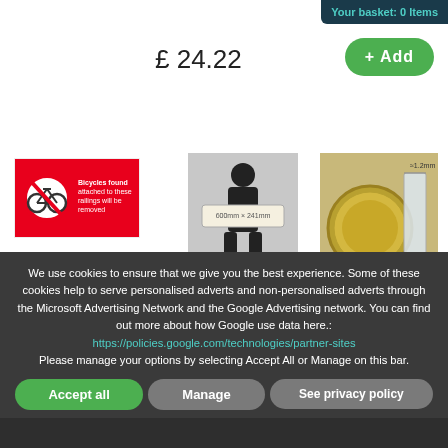Your basket: 0 Items
£ 24.22
+ Add
[Figure (photo): Red sign reading: Bicycles found attached to these railings will be removed, with a no-bicycle symbol.]
[Figure (photo): Silhouette of a person holding a banner showing sign dimensions 600mm x 200mm.]
600mm (24") / 200mm (8")
[Figure (photo): Close-up of a coin next to a thin plastic sheet, labeled 1.2mm, showing material thickness.]
Plastic semi rigid 1mm self adhesive
We use cookies to ensure that we give you the best experience. Some of these cookies help to serve personalised adverts and non-personalised adverts through the Microsoft Advertising Network and the Google Advertising network. You can find out more about how Google use data here.: https://policies.google.com/technologies/partner-sites Please manage your options by selecting Accept All or Manage on this bar.
Accept all
Manage
See privacy policy